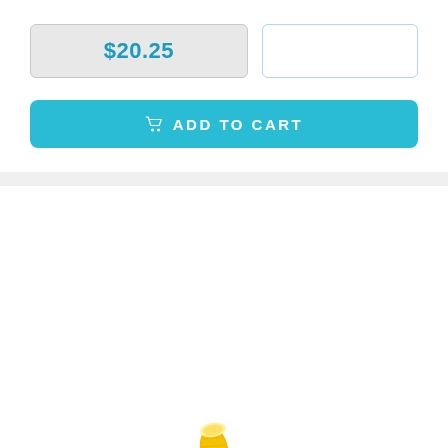$20.25
[Figure (illustration): Add to cart button with shopping cart icon]
[Figure (photo): Corn Cobs product image showing cut corn cob pieces]
Corn Cobs (each)